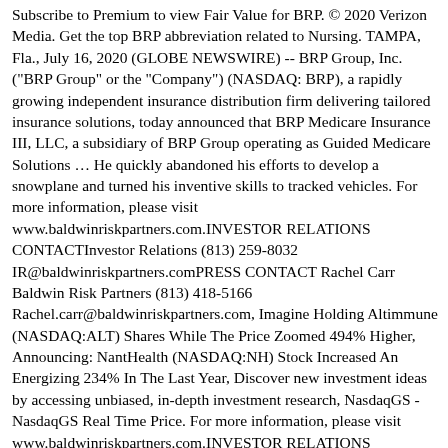Subscribe to Premium to view Fair Value for BRP. © 2020 Verizon Media. Get the top BRP abbreviation related to Nursing. TAMPA, Fla., July 16, 2020 (GLOBE NEWSWIRE) -- BRP Group, Inc. ("BRP Group" or the "Company") (NASDAQ: BRP), a rapidly growing independent insurance distribution firm delivering tailored insurance solutions, today announced that BRP Medicare Insurance III, LLC, a subsidiary of BRP Group operating as Guided Medicare Solutions … He quickly abandoned his efforts to develop a snowplane and turned his inventive skills to tracked vehicles. For more information, please visit www.baldwinriskpartners.com.INVESTOR RELATIONS CONTACTInvestor Relations (813) 259-8032 IR@baldwinriskpartners.comPRESS CONTACT Rachel Carr Baldwin Risk Partners (813) 418-5166 Rachel.carr@baldwinriskpartners.com, Imagine Holding Altimmune (NASDAQ:ALT) Shares While The Price Zoomed 494% Higher, Announcing: NantHealth (NASDAQ:NH) Stock Increased An Energizing 234% In The Last Year, Discover new investment ideas by accessing unbiased, in-depth investment research, NasdaqGS - NasdaqGS Real Time Price. For more information, please visit www.baldwinriskpartners.com.INVESTOR RELATIONS CONTACTInvestor Relations (813) 259-8032 IR@baldwinriskpartners.comPRESS CONTACT Rachel Carr Baldwin Risk Partners (813) 418-5166 Rachel.carr@baldwinriskpartners.com, Imagine Holding